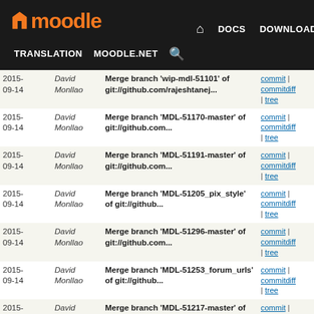moodle — DOCS DOWNLOADS DEMO TRACKER DEV | TRANSLATION MOODLE.NET
| Date | Author | Message | Links |
| --- | --- | --- | --- |
| 2015-09-14 | David Monllao | Merge branch 'wip-mdl-51101' of git://github.com/rajeshtanej... | commit | commitdiff | tree |
| 2015-09-14 | David Monllao | Merge branch 'MDL-51170-master' of git://github.com... | commit | commitdiff | tree |
| 2015-09-14 | David Monllao | Merge branch 'MDL-51191-master' of git://github.com... | commit | commitdiff | tree |
| 2015-09-14 | David Monllao | Merge branch 'MDL-51205_pix_style' of git://github... | commit | commitdiff | tree |
| 2015-09-14 | David Monllao | Merge branch 'MDL-51296-master' of git://github.com... | commit | commitdiff | tree |
| 2015-09-14 | David Monllao | Merge branch 'MDL-51253_forum_urls' of git://github... | commit | commitdiff | tree |
| 2015-09-14 | David Monllao | Merge branch 'MDL-51217-master' of git://github.com... | commit | commitdiff | tree |
| 2015-09-14 | David Monllao | Merge branch 'MDL-51232' of git://github.com/jinuabraham... | commit | commitdiff | tree |
| 2015-09-11 | David Monllao | MDL-50766 grunt: Check that there are yui modules before... | commit | commitdiff | tree |
| 2015-09-11 | Jetha Chan | MDL-50685 core_form: disable hidden options, don't... | commit | commitdiff | tree |